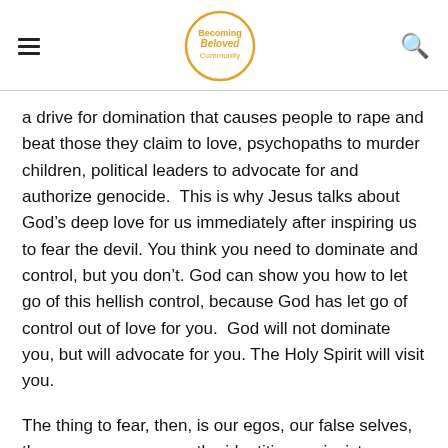Becoming Beloved Community
a drive for domination that causes people to rape and beat those they claim to love, psychopaths to murder children, political leaders to advocate for and authorize genocide.  This is why Jesus talks about God’s deep love for us immediately after inspiring us to fear the devil. You think you need to dominate and control, but you don’t. God can show you how to let go of this hellish control, because God has let go of control out of love for you.  God will not dominate you, but will advocate for you. The Holy Spirit will visit you.
The thing to fear, then, is our egos, our false selves, the personas we wear, the identities we insist on.  They are all forms of the same dominance that destroys innocence and corrupts nations. Thomas Merton puts it better than I ever could: